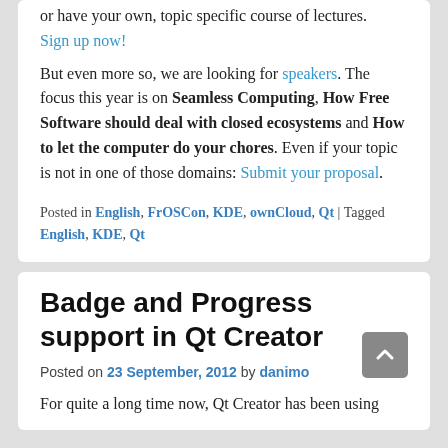or have your own, topic specific course of lectures. Sign up now!
But even more so, we are looking for speakers. The focus this year is on Seamless Computing, How Free Software should deal with closed ecosystems and How to let the computer do your chores. Even if your topic is not in one of those domains: Submit your proposal.
Posted in English, FrOSCon, KDE, ownCloud, Qt | Tagged English, KDE, Qt
Badge and Progress support in Qt Creator
Posted on 23 September, 2012 by danimo
For quite a long time now, Qt Creator has been using